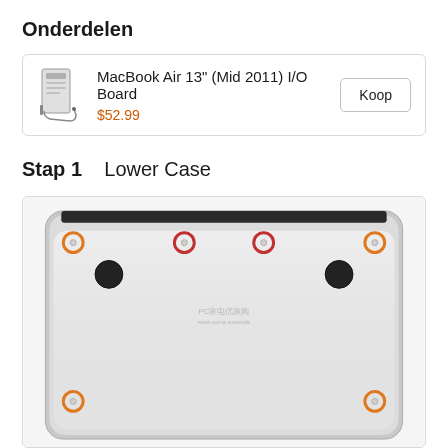Onderdelen
| Product | Naam | Prijs | Actie |
| --- | --- | --- | --- |
| MacBook Air 13" (Mid 2011) I/O Board (afbeelding) | MacBook Air 13" (Mid 2011) I/O Board | $52.99 | Koop |
Stap 1   Lower Case
[Figure (engineering-diagram): Bottom view of MacBook Air 13" laptop showing screws highlighted with orange circles at the four corners and two red-circled screws near the top edge near the hinge. The laptop is viewed from below with a silver aluminum surface and a black hinge bar at the top.]